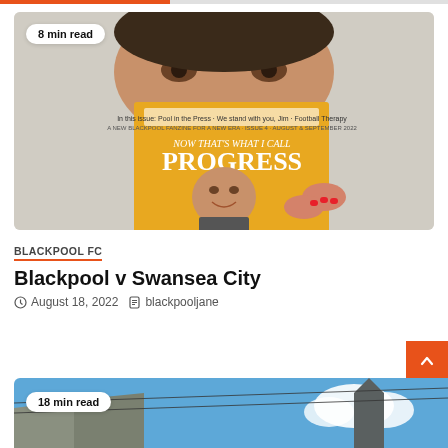[Figure (photo): Orange and grey progress bar at top of page]
[Figure (photo): Woman holding a football matchday programme titled 'NOW THAT'S WHAT I CALL PROGRESS' showing a man in a suit on the cover. Badge reads '8 min read'.]
BLACKPOOL FC
Blackpool v Swansea City
August 18, 2022   blackpooljane
[Figure (photo): Partial photo of rooftops and blue sky, partially visible at bottom of page. Badge reads '18 min read'.]